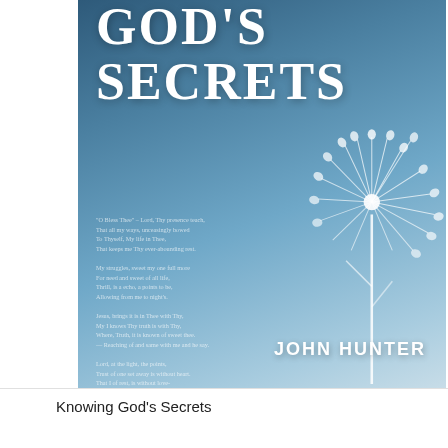[Figure (illustration): Book cover of 'God's Secrets' by John Hunter. Blue gradient background with a large dandelion image on the right side. Title text in large white serif font at the top reads 'GOD'S SECRETS'. Faint poem text overlaid in the middle-left area. Author name 'JOHN HUNTER' in bold white capitals at the bottom right.]
Knowing God's Secrets